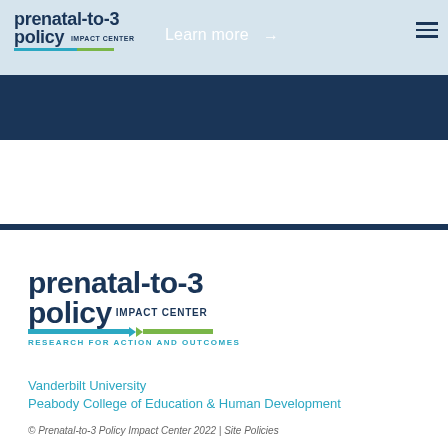[Figure (logo): Prenatal-to-3 Policy Impact Center logo in header navigation bar on light blue background with 'Learn more' link and arrow, and hamburger menu icon]
[Figure (logo): Prenatal-to-3 Policy Impact Center large logo with teal and green underline bar and tagline 'RESEARCH FOR ACTION AND OUTCOMES' in footer area]
Vanderbilt University
Peabody College of Education & Human Development
© Prenatal-to-3 Policy Impact Center 2022 | Site Policies